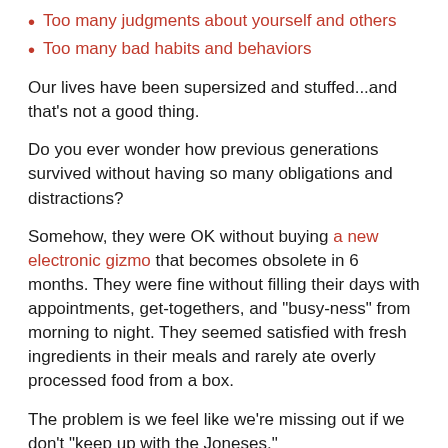Too many judgments about yourself and others
Too many bad habits and behaviors
Our lives have been supersized and stuffed...and that's not a good thing.
Do you ever wonder how previous generations survived without having so many obligations and distractions?
Somehow, they were OK without buying a new electronic gizmo that becomes obsolete in 6 months. They were fine without filling their days with appointments, get-togethers, and "busy-ness" from morning to night. They seemed satisfied with fresh ingredients in their meals and rarely ate overly processed food from a box.
The problem is we feel like we're missing out if we don't "keep up with the Joneses."
Can we really be happier without adding more